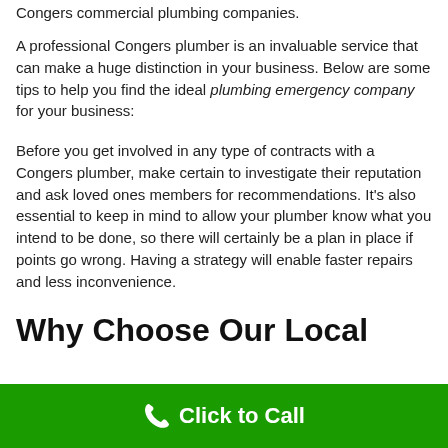Congers commercial plumbing companies.
A professional Congers plumber is an invaluable service that can make a huge distinction in your business. Below are some tips to help you find the ideal plumbing emergency company for your business:
Before you get involved in any type of contracts with a Congers plumber, make certain to investigate their reputation and ask loved ones members for recommendations. It’s also essential to keep in mind to allow your plumber know what you intend to be done, so there will certainly be a plan in place if points go wrong. Having a strategy will enable faster repairs and less inconvenience.
Why Choose Our Local
📞 Click to Call